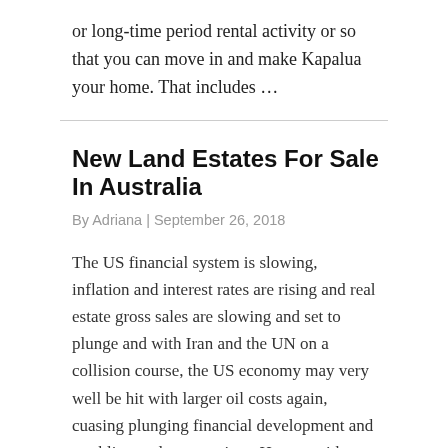or long-time period rental activity or so that you can move in and make Kapalua your home. That includes …
New Land Estates For Sale In Australia
By Adriana | September 26, 2018
The US financial system is slowing, inflation and interest rates are rising and real estate gross sales are slowing and set to plunge and with Iran and the UN on a collision course, the US economy may very well be hit with larger oil costs again, cuasing plunging financial development and tumbling real estate prices. Houses with a Make Me Transfer® value point out the amount the owner(s) would be prepared to promote for. Whether you need to purchase arable land, pasture, woodland or some other productive piece of